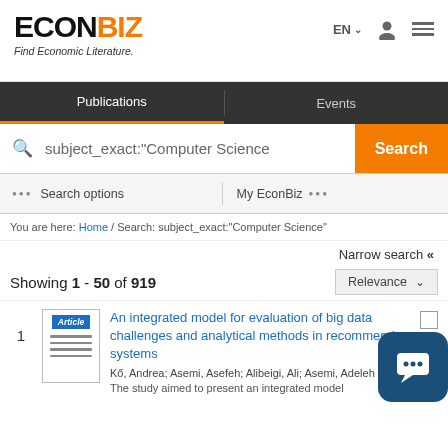ECONBIZ - Find Economic Literature.
Publications | Events
subject_exact:"Computer Science"
Search options | My EconBiz
You are here: Home / Search: subject_exact:"Computer Science"
Narrow search «
Showing 1 - 50 of 919
Relevance
1
Article
An integrated model for evaluation of big data challenges and analytical methods in recommender systems
Kő, Andrea; Asemi, Asefeh; Alibeigi, Ali; Asemi, Adeleh - 2022
The study aimed to present an integrated model